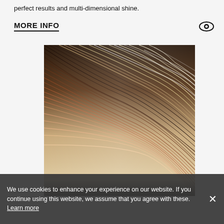perfect results and multi-dimensional shine.
MORE INFO
[Figure (photo): Close-up photograph of hair strands showing an ombre effect transitioning from dark brown roots to light blonde/platinum ends with multi-dimensional shine.]
We use cookies to enhance your experience on our website. If you continue using this website, we assume that you agree with these. Learn more